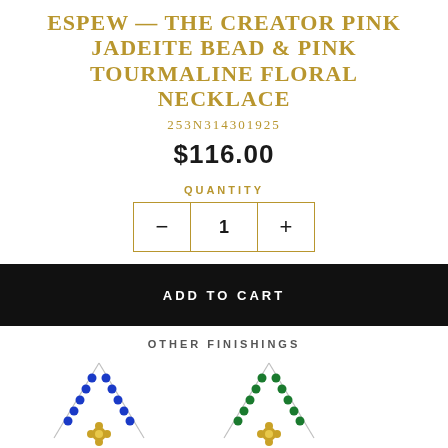ESPEW — THE CREATOR PINK JADEITE BEAD & PINK TOURMALINE FLORAL NECKLACE
253N314301925
$116.00
QUANTITY
- 1 +
ADD TO CART
OTHER FINISHINGS
[Figure (photo): Two necklace variants shown side by side — one with blue beads and one with green beads, both with gold floral pendant, on white background.]